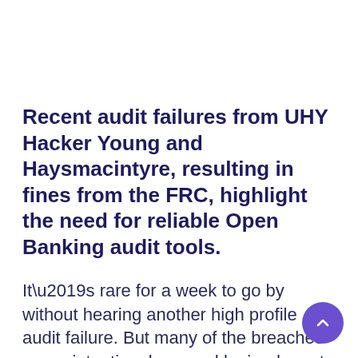Recent audit failures from UHY Hacker Young and Haysmacintyre, resulting in fines from the FRC, highlight the need for reliable Open Banking audit tools.
It’s rare for a week to go by without hearing another high profile audit failure. But many of the breaches are unintentional, caused by inadequate tools to complete audits